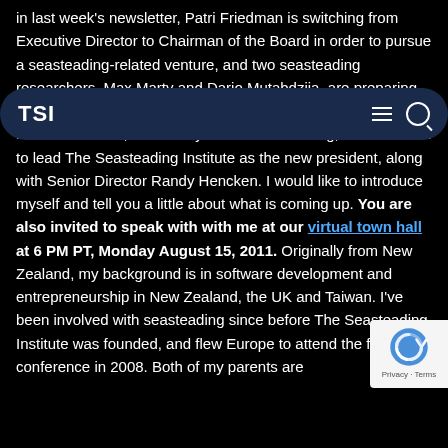in last week's newsletter, Patri Friedman is switching from Executive Director to Chairman of the Board in order to pursue a seasteading-related venture, and two seasteading researchers, Max Marty and Dario Mutabdzija, are preparing to launch Blueseed, a shipsteading venture. My name is Michael Keenan, and after years of volunteering, I am honored to lead The Seasteading Institute as the new president, along with Senior Director Randy Hencken. I would like to introduce myself and tell you a little about what is coming up. You are also invited to speak with with me at our virtual town hall at 6 PM PT, Monday August 15, 2011. Originally from New Zealand, my background is in software development and entrepreneurship in New Zealand, the UK and Taiwan. I've been involved with seasteading since before The Seasteading Institute was founded, and flew Europe to attend the first conference in 2008. Both of my parents are